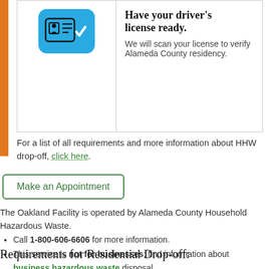[Figure (illustration): Driver's license icon with a checkmark, blue rounded rectangle background, with ID card icon and white checkmark]
Have your driver's license ready. We will scan your license to verify Alameda County residency.
For a list of all requirements and more information about HHW drop-off, click here.
Make an Appointment
The Oakland Facility is operated by Alameda County Household Hazardous Waste.
Call 1-800-606-6606 for more information.
This service is not for businesses; find information about business hazardous waste disposal.
The service is free for Alameda County residents.
See a list of materials that the drop-off facilities accept.
Requirements for Residential Drop-off: